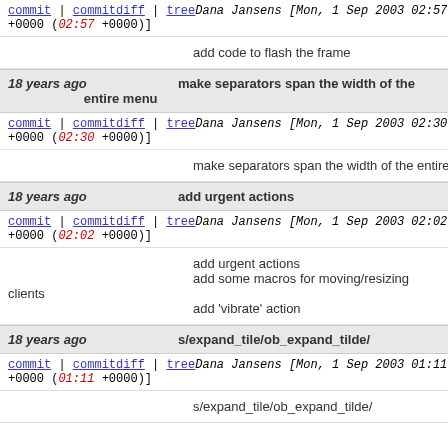commit | commitdiff | tree   Dana Jansens [Mon, 1 Sep 2003 02:57:19 +0000 (02:57 +0000)]
add code to flash the frame
18 years ago   make separators span the width of the entire menu
commit | commitdiff | tree   Dana Jansens [Mon, 1 Sep 2003 02:30:12 +0000 (02:30 +0000)]
make separators span the width of the entire men
18 years ago   add urgent actions
commit | commitdiff | tree   Dana Jansens [Mon, 1 Sep 2003 02:02:40 +0000 (02:02 +0000)]
add urgent actions
add some macros for moving/resizing clients
add 'vibrate' action
18 years ago   s/expand_tile/ob_expand_tilde/
commit | commitdiff | tree   Dana Jansens [Mon, 1 Sep 2003 01:11:15 +0000 (01:11 +0000)]
s/expand_tile/ob_expand_tilde/